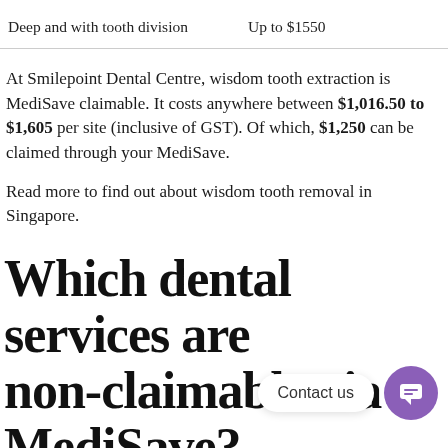| Deep and with tooth division | Up to $1550 |
At Smilepoint Dental Centre, wisdom tooth extraction is MediSave claimable. It costs anywhere between $1,016.50 to $1,605 per site (inclusive of GST). Of which, $1,250 can be claimed through your MediSave.
Read more to find out about wisdom tooth removal in Singapore.
Which dental services are non-claimable via MediSave?